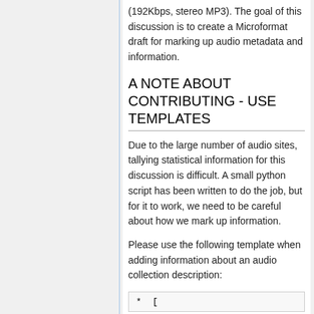(192Kbps, stereo MP3). The goal of this discussion is to create a Microformat draft for marking up audio metadata and information.
A NOTE ABOUT CONTRIBUTING - USE TEMPLATES
Due to the large number of audio sites, tallying statistical information for this discussion is difficult. A small python script has been written to do the job, but for it to work, we need to be careful about how we mark up information.
Please use the following template when adding information about an audio collection description:
* [